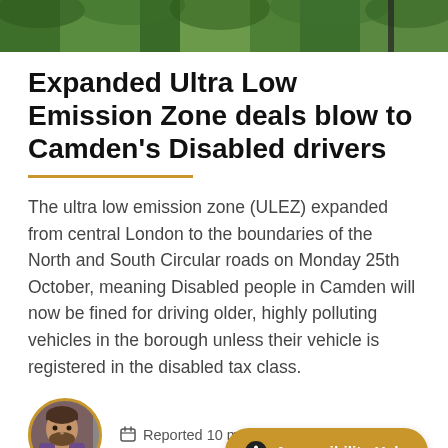[Figure (photo): Green trees/foliage photo strip at top of page]
Expanded Ultra Low Emission Zone deals blow to Camden's Disabled drivers
The ultra low emission zone (ULEZ) expanded from central London to the boundaries of the North and South Circular roads on Monday 25th October, meaning Disabled people in Camden will now be fined for driving older, highly polluting vehicles in the borough unless their vehicle is registered in the disabled tax class.
Reported 10 m
[Figure (photo): Author headshot avatar — man with beard in purple shirt]
Accessibility Help